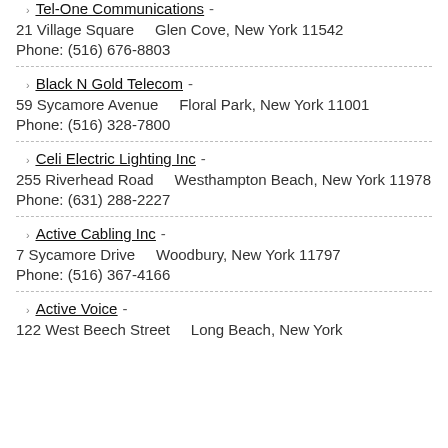Tel-One Communications - 21 Village Square    Glen Cove, New York 11542 Phone: (516) 676-8803
Black N Gold Telecom - 59 Sycamore Avenue    Floral Park, New York 11001 Phone: (516) 328-7800
Celi Electric Lighting Inc - 255 Riverhead Road    Westhampton Beach, New York 11978 Phone: (631) 288-2227
Active Cabling Inc - 7 Sycamore Drive    Woodbury, New York 11797 Phone: (516) 367-4166
Active Voice - 122 West Beech Street    Long Beach, New York